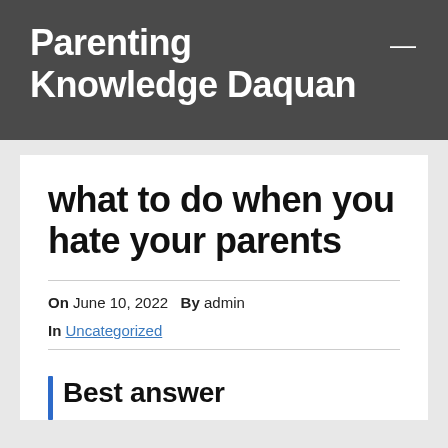Parenting Knowledge Daquan
what to do when you hate your parents
On June 10, 2022  By admin
In Uncategorized
Best answer